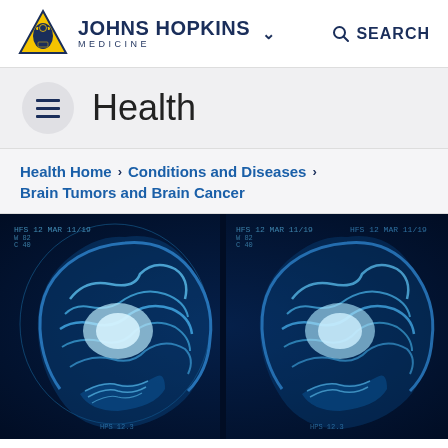JOHNS HOPKINS MEDICINE | SEARCH
Health
Health Home > Conditions and Diseases > Brain Tumors and Brain Cancer
[Figure (photo): Blue-tinted MRI brain scan images showing multiple sagittal cross-sections of the human brain, displayed side by side on a dark background with medical scanner data overlays]